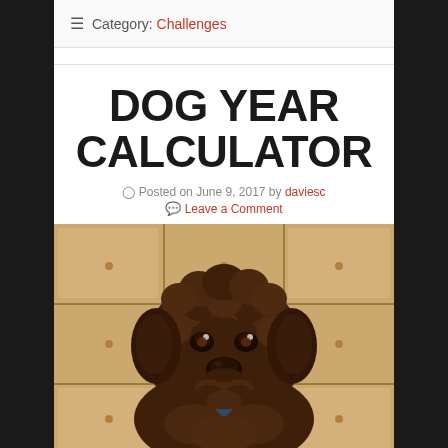☰ Category: Challenges
DOG YEAR CALCULATOR
Posted on June 9, 2017 by daviesc
Leave a Comment
[Figure (photo): Close-up photo of a brown curly-haired dog (likely a labradoodle or similar breed) with a wooden cabinet/locker background. The dog appears to be a puppy or young dog with dark brown curly fur, looking directly at the camera.]